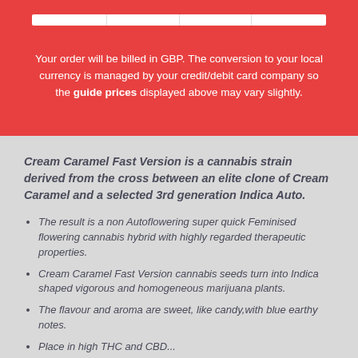Your order will be billed in GBP. The conversion to your local currency is managed by your credit/debit card company so the guide prices displayed above may vary slightly.
Cream Caramel Fast Version is a cannabis strain derived from the cross between an elite clone of Cream Caramel and a selected 3rd generation Indica Auto.
The result is a non Autoflowering super quick Feminised flowering cannabis hybrid with highly regarded therapeutic properties.
Cream Caramel Fast Version cannabis seeds turn into Indica shaped vigorous and homogeneous marijuana plants.
The flavour and aroma are sweet, like candy,with blue earthy notes.
Place in high THC and CBD...